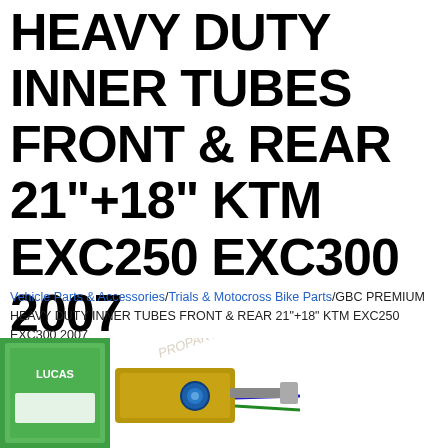HEAVY DUTY INNER TUBES FRONT & REAR 21"+18" KTM EXC250 EXC300 2007
Vehicle Parts & Accessories / Trials & Motocross Bike Parts / GBC PREMIUM HEAVY DUTY INNER TUBES FRONT & REAR 21"+18" KTM EXC250 EXC300 2007
[Figure (photo): Product photo showing a green branded box and a mechanical component (switch/connector assembly with a blue ring and wiring), with a watermark overlay.]